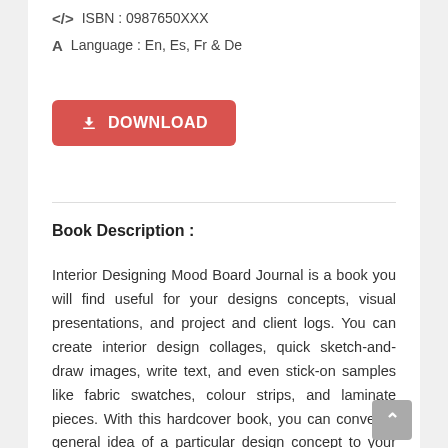ISBN : 0987650XXX
Language : En, Es, Fr & De
[Figure (other): Red download button with download icon and text DOWNLOAD]
Book Description :
Interior Designing Mood Board Journal is a book you will find useful for your designs concepts, visual presentations, and project and client logs. You can create interior design collages, quick sketch-and-draw images, write text, and even stick-on samples like fabric swatches, colour strips, and laminate pieces. With this hardcover book, you can convey a general idea of a particular design concept to your client, log and organise his/her information, and refer to an index page when searching for each project details. Look beyond the digital types of vision boards and get a physical book that will help speed up your client's sign off. You